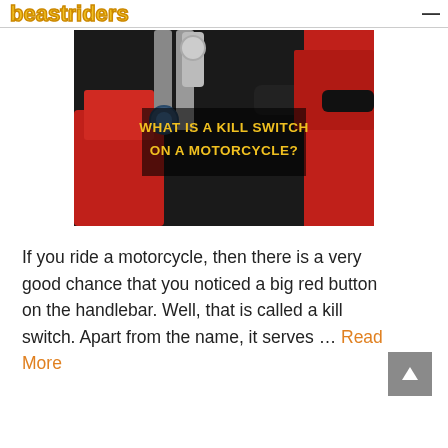beastriders
[Figure (photo): Motorcycle handlebar cockpit close-up photo with yellow bold text overlay reading 'WHAT IS A KILL SWITCH ON A MOTORCYCLE?']
If you ride a motorcycle, then there is a very good chance that you noticed a big red button on the handlebar. Well, that is called a kill switch. Apart from the name, it serves … Read More